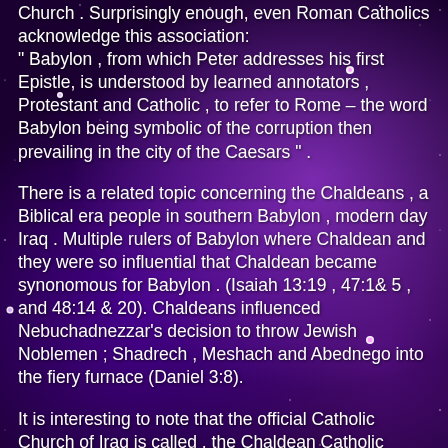Church . Surprisingly enough, even Roman Catholics acknowledge this association: “ Babylon , from which Peter addresses his first Epistle, is understood by learned annotators , Protestant and Catholic , to refer to Rome – the word Babylon being symbolic of the corruption then prevailing in the city of the Caesars ” .
There is a related topic concerning the Chaldeans , a Biblical era people in southern Babylon , modern day Iraq . Multiple rulers of Babylon where Chaldean and they were so influential that Chaldean became synonomous for Babylon . (Isaiah 13:19 , 47:1& 5 , and 48:14 & 20). Chaldeans influenced Nebuchadnezzar’s decision to throw Jewish Noblemen ; Shadrech , Meshach and Abednego into the fiery furnace (Daniel 3:8).
It is interesting to note that the official Catholic Church of Iraq is called , the Chaldean Catholic Church of Iraq , having 500,000 members .